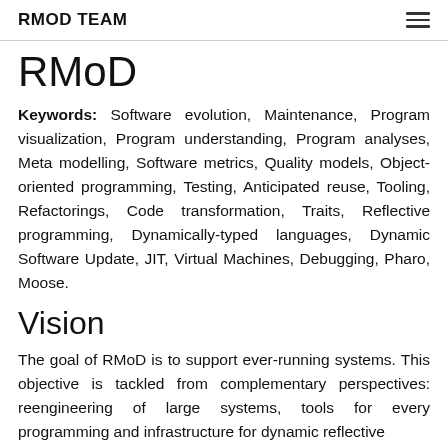RMOD TEAM
RMoD
Keywords: Software evolution, Maintenance, Program visualization, Program understanding, Program analyses, Meta modelling, Software metrics, Quality models, Object-oriented programming, Testing, Anticipated reuse, Tooling, Refactorings, Code transformation, Traits, Reflective programming, Dynamically-typed languages, Dynamic Software Update, JIT, Virtual Machines, Debugging, Pharo, Moose.
Vision
The goal of RMoD is to support ever-running systems. This objective is tackled from complementary perspectives: reengineering of large systems, tools for every programming and infrastructure for dynamic reflective